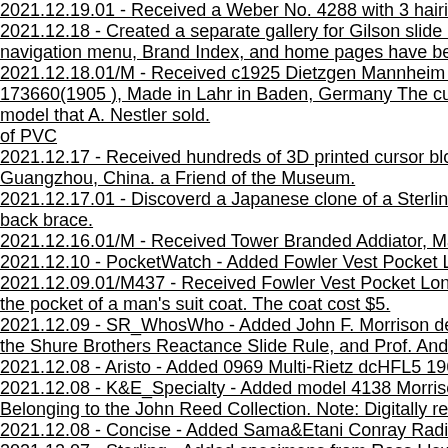2021.12.19.01 - Received a Weber No. 4288 with 3 hairin curs...
2021.12.18 - Created a separate gallery for Gilson slide rules w... navigation menu, Brand Index, and home pages have been mo...
2021.12.18.01/M - Received c1925 Dietzgen Mannheim Manua... 173660(1905 ), Made in Lahr in Baden, Germany The cursor gl... model that A. Nestler sold.
of PVC
2021.12.17 - Received hundreds of 3D printed cursor blocks fo... Guangzhou, China. a Friend of the Museum.
2021.12.17.01 - Discoverd a Japanese clone of a Sterling 684 S... back brace.
2021.12.16.01/M - Received Tower Branded Addiator, Made in...
2021.12.10 - PocketWatch - Added Fowler Vest Pocket Long-S...
2021.12.09.01/M437 - Received Fowler Vest Pocket Long-Scal... the pocket of a man's suit coat. The coat cost $5.
2021.12.09 - SR_WhosWho - Added John F. Morrison designer... the Shure Brothers Reactance Slide Rule, and Prof. Andreas P...
2021.12.08 - Aristo - Added 0969 Multi-Rietz dcHFL5 1967, Gift...
2021.12.08 - K&E_Specialty - Added model 4138 Morrison Rac... Belonging to the John Reed Collection. Note: Digitally repaired...
2021.12.08 - Concise - Added Sama&Etani Conray Radiologica...
2021.12.07 - Sterling - Added specimens from Ross Llewellyn a... restructured gallery between Sterling Plastics era and Borden C...
2021.12.04.01.- Received Gift of Sterling Plastic Co. (585) ©19... Ross Llewallyn of Atlanta, Georgia.
2021.12.03.- Facebook Fundraiser - Goal $2000+. $220 raised... Jean-Claude Simon, Chr Wilhelm, Steven Konshak, Dan Wilson...
2021.12.01 - Received donation from Kenneth Yanoska of Arca...
2021.12.01 - Received Gift of slide rules from Prof. Dr. Jor...